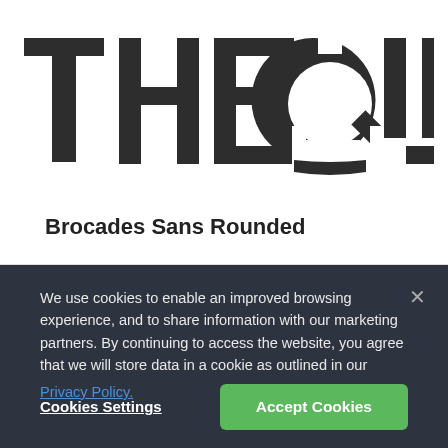[Figure (logo): Large stencil-style bold logo text reading 'THE QU' in dark charcoal, with the Q having a distinctive cut-out style design]
Brocades Sans Rounded
We use cookies to enable an improved browsing experience, and to share information with our marketing partners. By continuing to access the website, you agree that we will store data in a cookie as outlined in our Privacy Policy.
Cookies Settings
Accept Cookies